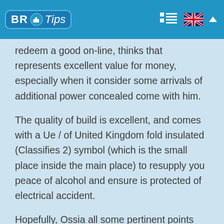BR Tips
redeem a good on-line, thinks that represents excellent value for money, especially when it consider some arrivals of additional power concealed come with him.
The quality of build is excellent, and comes with a Ue / of United Kingdom fold insulated (Classifies 2) symbol (which is the small place inside the main place) to resupply you peace of alcohol and ensure is protected of electrical accident.
Hopefully, Ossia all some pertinent points the help an election has informed roughly that buys this